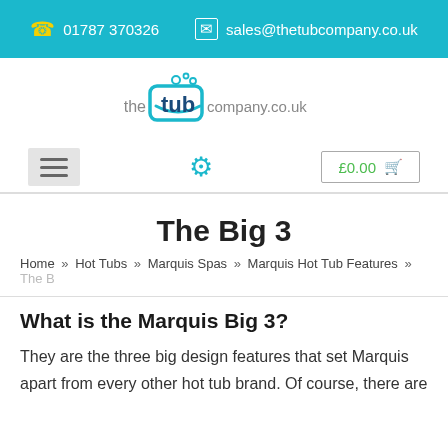01787 370326  sales@thetubcompany.co.uk
[Figure (logo): The Tub Company logo with teal bathtub icon and bubbles, text 'the tub company.co.uk']
The Big 3
Home » Hot Tubs » Marquis Spas » Marquis Hot Tub Features » The B
What is the Marquis Big 3?
They are the three big design features that set Marquis apart from every other hot tub brand. Of course, there are